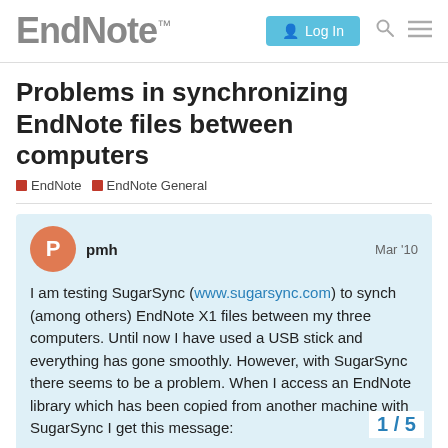EndNote™ | Log In
Problems in synchronizing EndNote files between computers
EndNote  EndNote General
pmh  Mar '10
I am testing SugarSync (www.sugarsync.com) to synch (among others) EndNote X1 files between my three computers. Until now I have used a USB stick and everything has gone smoothly. However, with SugarSync there seems to be a problem. When I access an EndNote library which has been copied from another machine with SugarSync I get this message:
“This library appears to be damaged. Please verify that no other user has this library open simultaneously w... if this error persists after restarting EndNote, ... library using the [Recover Library] on the [E
1 / 5